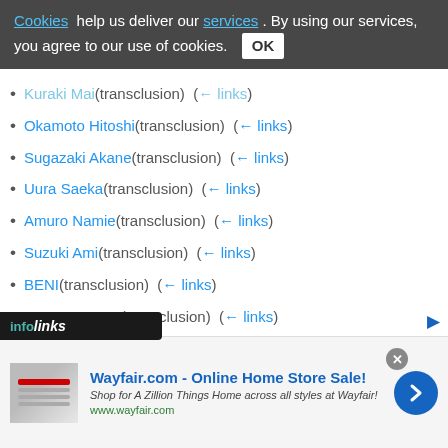Cookies help us deliver our services. By using our services, you agree to our use of cookies. OK
Kuraki Mai (transclusion) (← links)
Okamoto Hitoshi (transclusion) (← links)
Sugazaki Akane (transclusion) (← links)
Uura Saeka (transclusion) (← links)
Amuro Namie (transclusion) (← links)
Suzuki Ami (transclusion) (← links)
BENI (transclusion) (← links)
BONNIE PINK (transclusion) (← links)
Matsuura Aya (transclusion) (← links)
Miura Daichi (transclusion) (← links)
Kago Ai (transclusion) (← links)
Crystal Kay (transclusion) (← links)
[Figure (screenshot): infolinks ad bar at bottom left]
[Figure (screenshot): Wayfair.com advertisement banner: Online Home Store Sale! Shop for A Zillion Things Home across all styles at Wayfair! www.wayfair.com]